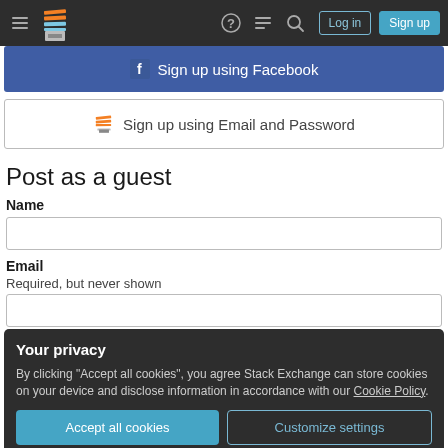Stack Exchange navigation bar with hamburger menu, logo, icons, Log in and Sign up buttons
[Figure (screenshot): Facebook sign up button - blue button with Facebook icon and text 'Sign up using Facebook']
[Figure (screenshot): Stack Overflow sign up using Email and Password button with SO icon]
Post as a guest
Name
[Figure (screenshot): Name text input field (empty)]
Email
Required, but never shown
[Figure (screenshot): Email text input field (empty, partially visible)]
Your privacy
By clicking "Accept all cookies", you agree Stack Exchange can store cookies on your device and disclose information in accordance with our Cookie Policy.
Accept all cookies | Customize settings
Not the answer you're looking for? Browse other questions